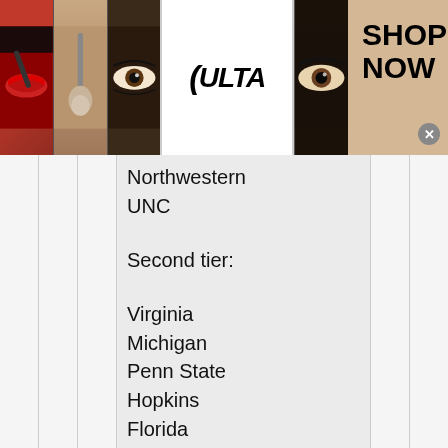[Figure (photo): Top banner advertisement for Ulta Beauty showing makeup images, Ulta logo, and 'SHOP NOW' call to action]
Northwestern
UNC
Second tier:
Virginia
Michigan
Penn State
Hopkins
Florida
USC
Maryland
Hopkins
Harvard
Brown
[Figure (photo): Bottom advertisement for Sam's Club Plus membership: 'Get all the perks with Plus. 2% Sam's Cash. On qualifying purchases, up to $500/year. www.samsclub.com']